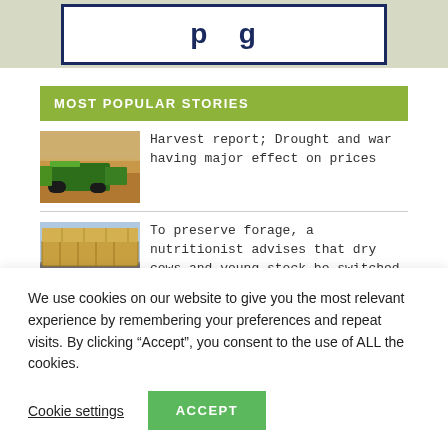[Figure (screenshot): Website header box with dark navy border on olive/tan background, containing bold navy text partially visible]
MOST POPULAR STORIES
[Figure (photo): Combine harvester in a dusty field during harvest]
Harvest report; Drought and war having major effect on prices
[Figure (photo): Large truck loaded with stacked hay bales]
To preserve forage, a nutritionist advises that dry cows and young stock be switched to straw-based rations.
We use cookies on our website to give you the most relevant experience by remembering your preferences and repeat visits. By clicking “Accept”, you consent to the use of ALL the cookies.
Cookie settings
ACCEPT